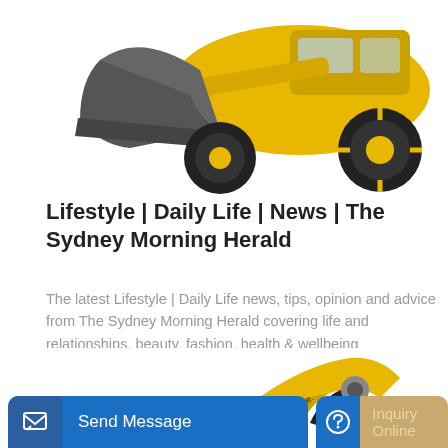[Figure (photo): Partial view of a yellow and black wheel loader / front loader construction vehicle with grey bucket, on white background]
Lifestyle | Daily Life | News | The Sydney Morning Herald
The latest Lifestyle | Daily Life news, tips, opinion and advice from The Sydney Morning Herald covering life and relationships, beauty, fashion, health & wellbeing
[Figure (photo): Partial view of a yellow construction excavator/machinery on white background]
Learn More
Send Message
Inquiry Online